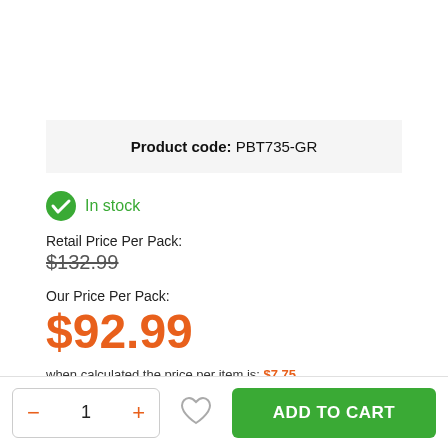Product code: PBT735-GR
In stock
Retail Price Per Pack:
$132.99
Our Price Per Pack:
$92.99
when calculated the price per item is: $7.75